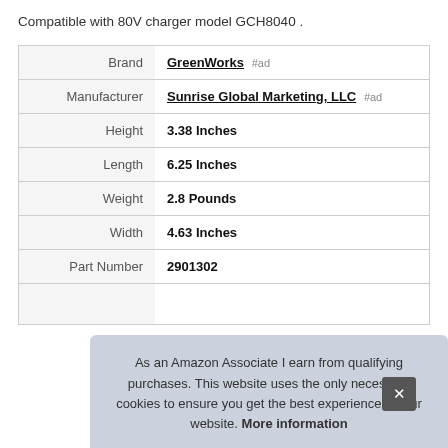Compatible with 80V charger model GCH8040 .
| Brand | GreenWorks #ad |
| Manufacturer | Sunrise Global Marketing, LLC #ad |
| Height | 3.38 Inches |
| Length | 6.25 Inches |
| Weight | 2.8 Pounds |
| Width | 4.63 Inches |
| Part Number | 2901302 |
As an Amazon Associate I earn from qualifying purchases. This website uses the only necessary cookies to ensure you get the best experience on our website. More information